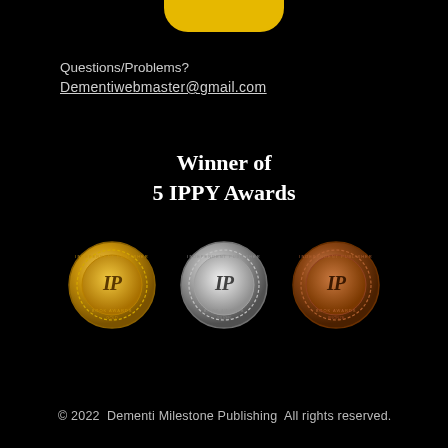[Figure (illustration): Yellow rounded rectangle badge partially visible at top center of black page]
Questions/Problems?
Dementiwebmaster@gmail.com
Winner of
5 IPPY Awards
[Figure (illustration): Three IPPY Award medals side by side: gold, silver, and bronze, each showing 'IP' letters in the center on a circular medallion]
© 2022  Dementi Milestone Publishing  All rights reserved.